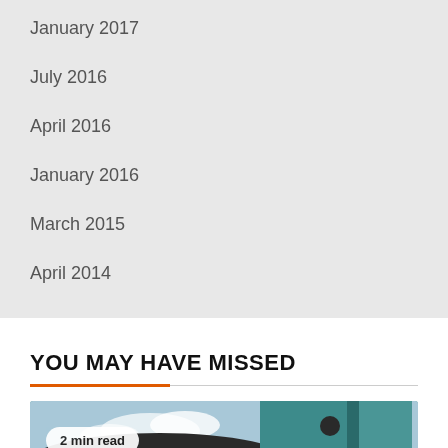January 2017
July 2016
April 2016
January 2016
March 2015
April 2014
YOU MAY HAVE MISSED
[Figure (photo): Photo of a teal/green structure with 'Clever' text, a building in background, and a '2 min read' badge overlay. Orange back-to-top button in bottom right corner.]